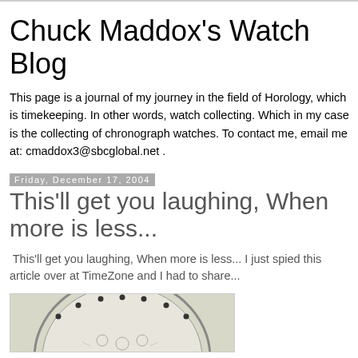Chuck Maddox's Watch Blog
This page is a journal of my journey in the field of Horology, which is timekeeping. In other words, watch collecting. Which in my case is the collecting of chronograph watches. To contact me, email me at: cmaddox3@sbcglobal.net .
Friday, December 17, 2004
This'll get you laughing, When more is less...
This'll get you laughing, When more is less... I just spied this article over at TimeZone and I had to share...
[Figure (photo): A photograph of a watch face/dial, partially visible at the bottom of the page, showing a chronograph watch with dark markers on the bezel against a light-colored background.]